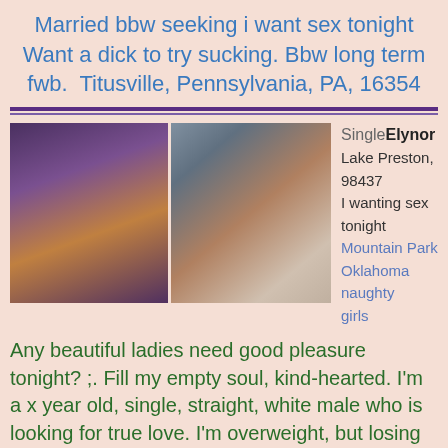Married bbw seeking i want sex tonight Want a dick to try sucking. Bbw long term fwb. Titusville, Pennsylvania, PA, 16354
[Figure (photo): Two side-by-side photos of women]
Single Elynor
Lake Preston, 98437
I wanting sex tonight
Mountain Park Oklahoma naughty girls
Any beautiful ladies need good pleasure tonight? ;. Fill my empty soul, kind-hearted. I'm a x year old, single, straight, white male who is looking for true love. I'm overweight, but losing it. I am intelligent, under fucking age kind, and charming, with a GREAT sense of humor. I try to have a positive attitude and am optimistic. I have good morals. free and a light drinker. And yes, I have a job. LOL. My passion right now is photography. I also enjoy nature walks, garage sales,